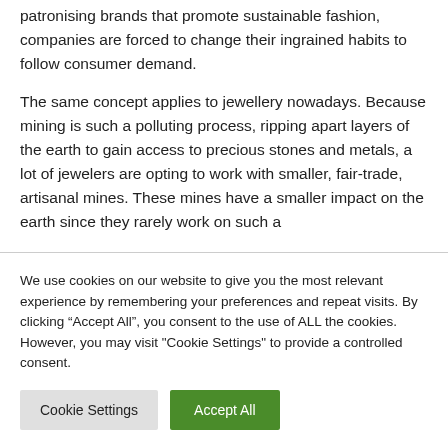patronising brands that promote sustainable fashion, companies are forced to change their ingrained habits to follow consumer demand.
The same concept applies to jewellery nowadays. Because mining is such a polluting process, ripping apart layers of the earth to gain access to precious stones and metals, a lot of jewelers are opting to work with smaller, fair-trade, artisanal mines. These mines have a smaller impact on the earth since they rarely work on such a
We use cookies on our website to give you the most relevant experience by remembering your preferences and repeat visits. By clicking "Accept All", you consent to the use of ALL the cookies. However, you may visit "Cookie Settings" to provide a controlled consent.